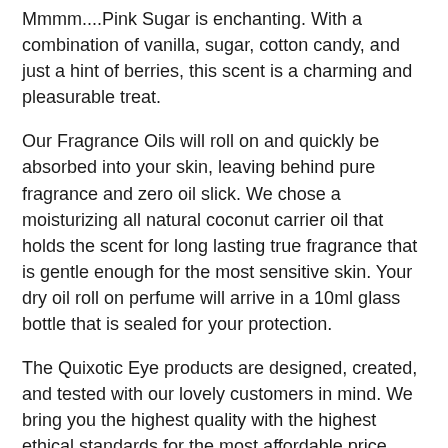Mmmm....Pink Sugar is enchanting. With a combination of vanilla, sugar, cotton candy, and just a hint of berries, this scent is a charming and pleasurable treat.
Our Fragrance Oils will roll on and quickly be absorbed into your skin, leaving behind pure fragrance and zero oil slick. We chose a moisturizing all natural coconut carrier oil that holds the scent for long lasting true fragrance that is gentle enough for the most sensitive skin. Your dry oil roll on perfume will arrive in a 10ml glass bottle that is sealed for your protection.
The Quixotic Eye products are designed, created, and tested with our lovely customers in mind. We bring you the highest quality with the highest ethical standards for the most affordable price because we believe quality self care is a necessity, not a luxury. All Quixotic Eye products are vegan and cruelty free.